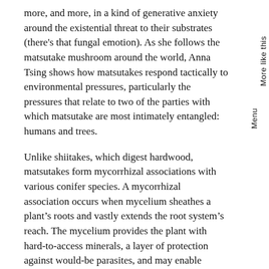more, and more, in a kind of generative anxiety around the existential threat to their substrates (there's that fungal emotion). As she follows the matsutake mushroom around the world, Anna Tsing shows how matsutakes respond tactically to environmental pressures, particularly the pressures that relate to two of the parties with which matsutake are most intimately entangled: humans and trees.
Unlike shiitakes, which digest hardwood, matsutakes form mycorrhizal associations with various conifer species. A mycorrhizal association occurs when mycelium sheathes a plant's roots and vastly extends the root system's reach. The mycelium provides the plant with hard-to-access minerals, a layer of protection against would-be parasites, and may enable communication and nutrient exchange with other plants, even connecting whole forests in what has been referred to (by almost everyone who writes on the